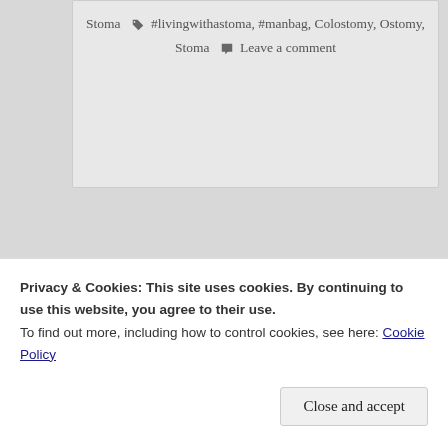Stoma 🏷 #livingwithastoma, #manbag, Colostomy, Ostomy, Stoma 💬 Leave a comment
Archives
October 2021
December 2019
Privacy & Cookies: This site uses cookies. By continuing to use this website, you agree to their use.
To find out more, including how to control cookies, see here: Cookie Policy